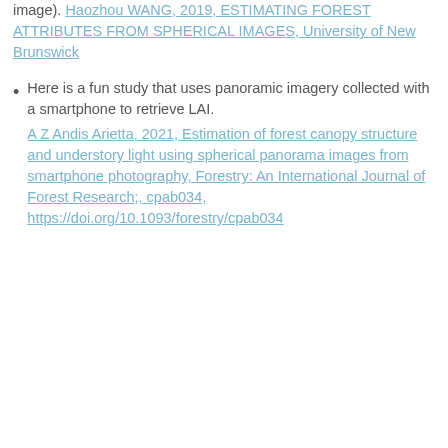image). Haozhou WANG, 2019, ESTIMATING FOREST ATTRIBUTES FROM SPHERICAL IMAGES, University of New Brunswick
Here is a fun study that uses panoramic imagery collected with a smartphone to retrieve LAI. A Z Andis Arietta, 2021, Estimation of forest canopy structure and understory light using spherical panorama images from smartphone photography, Forestry: An International Journal of Forest Research,, cpab034, https://doi.org/10.1093/forestry/cpab034